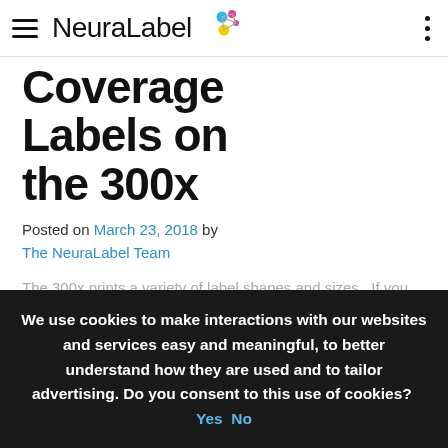NeuraLabel
Coverage Labels on the 300x
Posted on March 23, 2018 by The NeuraLabel Team
The 300x prints a variety of label shapes and sizes.  If you wish to print full bleed or full coverage labels
We use cookies to make interactions with our websites and services easy and meaningful, to better understand how they are used and to tailor advertising. Do you consent to this use of cookies?  Yes  No